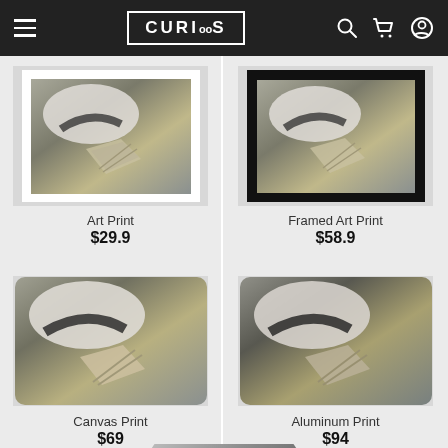CURIOOS navigation bar with logo, search, cart, and account icons
[Figure (photo): Art Print product image - photo of shoe with money bills, white mat]
Art Print
$29.9
[Figure (photo): Framed Art Print product image - photo of shoe with money bills, black frame]
Framed Art Print
$58.9
[Figure (photo): Canvas Print product image - photo of shoe with money bills, rounded corners canvas]
Canvas Print
$69
[Figure (photo): Aluminum Print product image - photo of shoe with money bills, rounded corners aluminum]
Aluminum Print
$94
[Figure (photo): Fifth product partially visible at bottom - circular/round frame]